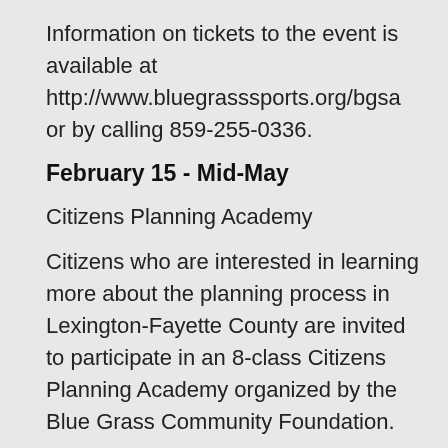Information on tickets to the event is available at http://www.bluegrasssports.org/bgsa or by calling 859-255-0336.
February 15 - Mid-May
Citizens Planning Academy
Citizens who are interested in learning more about the planning process in Lexington-Fayette County are invited to participate in an 8-class Citizens Planning Academy organized by the Blue Grass Community Foundation.
This program was developed as a result of an infill and redevelopment task force recommendation to improve communication and education about